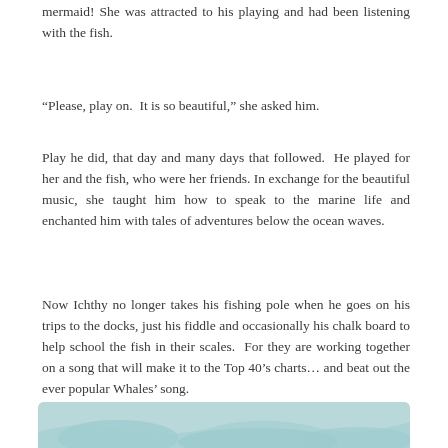mermaid! She was attracted to his playing and had been listening with the fish.
“Please, play on.  It is so beautiful,” she asked him.
Play he did, that day and many days that followed.  He played for her and the fish, who were her friends. In exchange for the beautiful music, she taught him how to speak to the marine life and enchanted him with tales of adventures below the ocean waves.
Now Ichthy no longer takes his fishing pole when he goes on his trips to the docks, just his fiddle and occasionally his chalk board to help school the fish in their scales.  For they are working together on a song that will make it to the Top 40’s charts… and beat out the ever popular Whales’ song.
[Figure (illustration): Teal/blue illustrated scene at the bottom of the page, partially visible, depicting an underwater or ocean-themed illustration.]